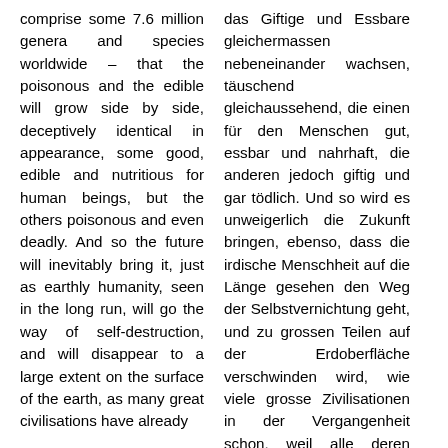comprise some 7.6 million genera and species worldwide – that the poisonous and the edible will grow side by side, deceptively identical in appearance, some good, edible and nutritious for human beings, but the others poisonous and even deadly. And so the future will inevitably bring it, just as earthly humanity, seen in the long run, will go the way of self-destruction, and will disappear to a large extent on the surface of the earth, as many great civilisations have already
das Giftige und Essbare gleichermassen nebeneinander wachsen, täuschend gleichaussehend, die einen für den Menschen gut, essbar und nahrhaft, die anderen jedoch giftig und gar tödlich. Und so wird es unweigerlich die Zukunft bringen, ebenso, dass die irdische Menschheit auf die Länge gesehen den Weg der Selbstvernichtung geht, und zu grossen Teilen auf der Erdoberfläche verschwinden wird, wie viele grosse Zivilisationen in der Vergangenheit schon, weil alle deren Möglichkeiten einer Weiterexistenz